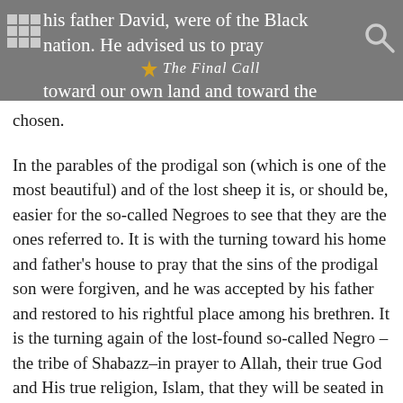his father David, were of the Black nation. He advised us to pray toward our own land and toward the Holy City (Mecca) which He has chosen. — The Final Call
chosen.
In the parables of the prodigal son (which is one of the most beautiful) and of the lost sheep it is, or should be, easier for the so-called Negroes to see that they are the ones referred to. It is with the turning toward his home and father's house to pray that the sins of the prodigal son were forgiven, and he was accepted by his father and restored to his rightful place among his brethren. It is the turning again of the lost-found so-called Negro –the tribe of Shabazz–in prayer to Allah, their true God and His true religion, Islam, that they will be seated in heaven overnight (at once). The enemy knows this as well as I.
The prayer service is divided into two parts, one to be said in private and the other to be performed in congregation, preferably in a Mosque. While the private part is meant simply for the development of the inner self of man, the public part has other ends so well in